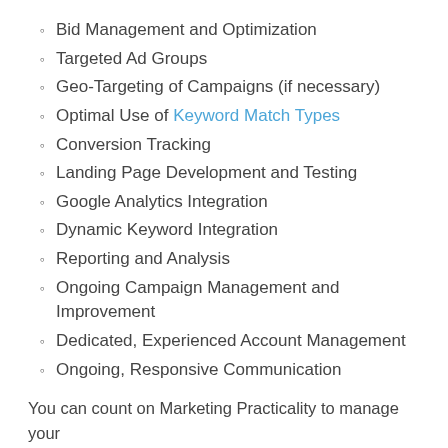Bid Management and Optimization
Targeted Ad Groups
Geo-Targeting of Campaigns (if necessary)
Optimal Use of Keyword Match Types
Conversion Tracking
Landing Page Development and Testing
Google Analytics Integration
Dynamic Keyword Integration
Reporting and Analysis
Ongoing Campaign Management and Improvement
Dedicated, Experienced Account Management
Ongoing, Responsive Communication
You can count on Marketing Practicality to manage your